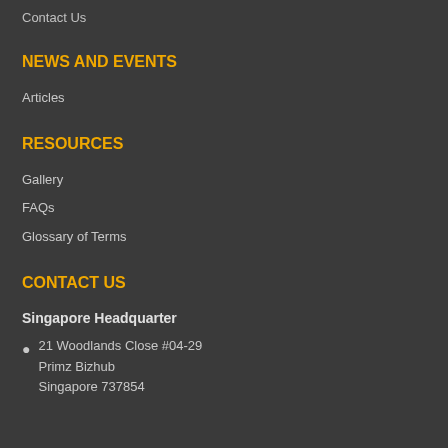Contact Us
NEWS AND EVENTS
Articles
RESOURCES
Gallery
FAQs
Glossary of Terms
CONTACT US
Singapore Headquarter
21 Woodlands Close #04-29
Primz Bizhub
Singapore 737854